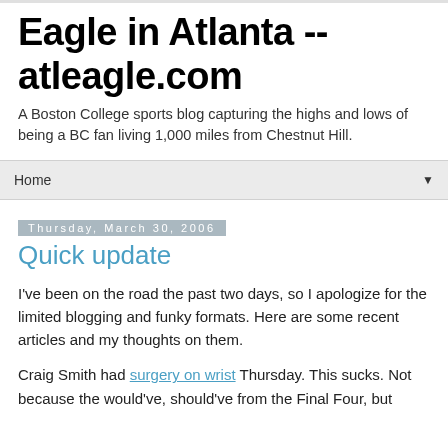Eagle in Atlanta -- atleagle.com
A Boston College sports blog capturing the highs and lows of being a BC fan living 1,000 miles from Chestnut Hill.
Home ▼
Thursday, March 30, 2006
Quick update
I've been on the road the past two days, so I apologize for the limited blogging and funky formats. Here are some recent articles and my thoughts on them.
Craig Smith had surgery on wrist Thursday. This sucks. Not because the would've, should've from the Final Four, but